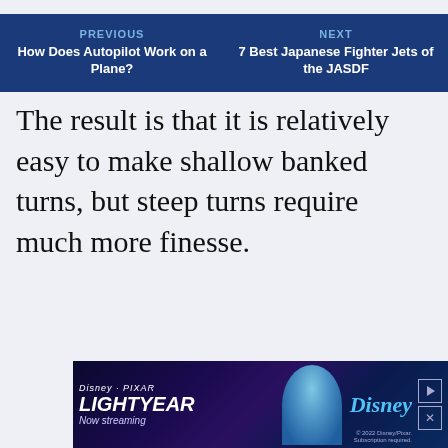increases, the aerodynamic factors doing into the
PREVIOUS: How Does Autopilot Work on a Plane? | NEXT: 7 Best Japanese Fighter Jets of the JASDF
The result is that it is relatively easy to make shallow banked turns, but steep turns require much more finesse.
[Figure (infographic): Disney Pixar Lightyear advertisement banner showing character and Disney logo with Now streaming text]